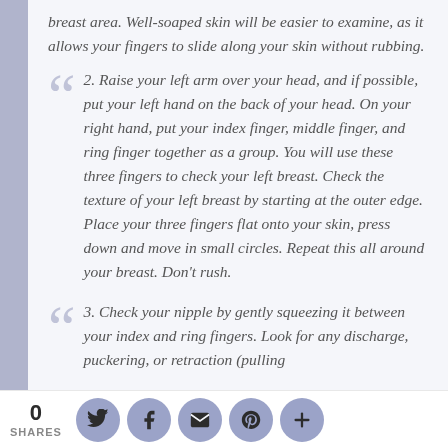breast area. Well-soaped skin will be easier to examine, as it allows your fingers to slide along your skin without rubbing.
2. Raise your left arm over your head, and if possible, put your left hand on the back of your head. On your right hand, put your index finger, middle finger, and ring finger together as a group. You will use these three fingers to check your left breast. Check the texture of your left breast by starting at the outer edge. Place your three fingers flat onto your skin, press down and move in small circles. Repeat this all around your breast. Don't rush.
3. Check your nipple by gently squeezing it between your index and ring fingers. Look for any discharge, puckering, or retraction (pulling...
0 SHARES